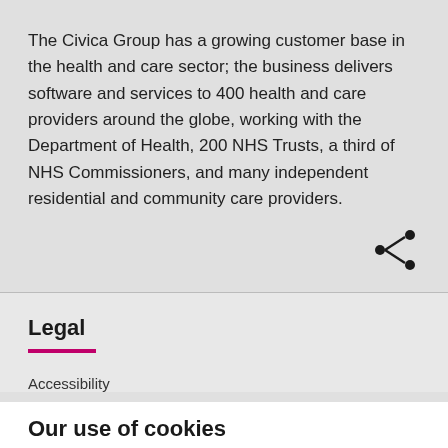The Civica Group has a growing customer base in the health and care sector; the business delivers software and services to 400 health and care providers around the globe, working with the Department of Health, 200 NHS Trusts, a third of NHS Commissioners, and many independent residential and community care providers.
[Figure (illustration): Share icon — three connected circles in a sharing network symbol, dark/black colored]
Legal
Accessibility
Our use of cookies